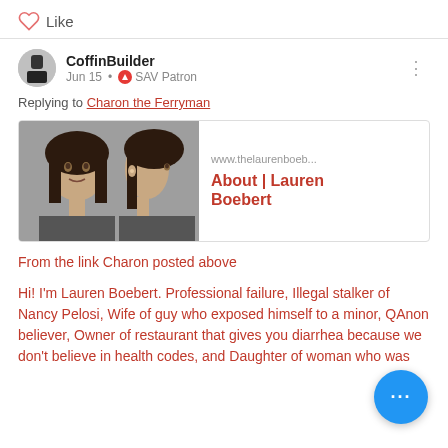[Figure (other): Like button row with heart icon and 'Like' text]
CoffinBuilder
Jun 15 • SAV Patron
Replying to Charon the Ferryman
[Figure (other): Link card showing photo of two women (mugshot style) and url www.thelaurenboeb... with title 'About | Lauren Boebert']
From the link Charon posted above
Hi! I'm Lauren Boebert. Professional failure, Illegal stalker of Nancy Pelosi, Wife of guy who exposed himself to a minor, QAnon believer, Owner of restaurant that gives you diarrhea because we don't believe in health codes, and Daughter of woman who was